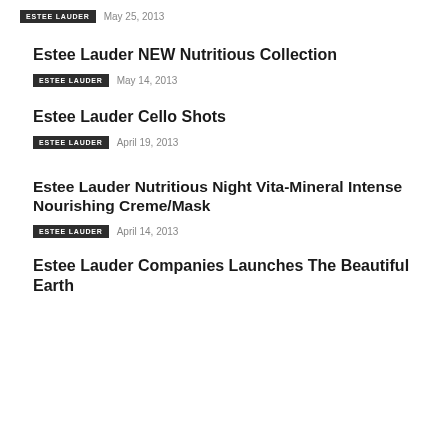ESTEE LAUDER   May 25, 2013
Estee Lauder NEW Nutritious Collection
ESTEE LAUDER   May 14, 2013
Estee Lauder Cello Shots
ESTEE LAUDER   April 19, 2013
Estee Lauder Nutritious Night Vita-Mineral Intense Nourishing Creme/Mask
ESTEE LAUDER   April 14, 2013
Estee Lauder Companies Launches The Beautiful Earth